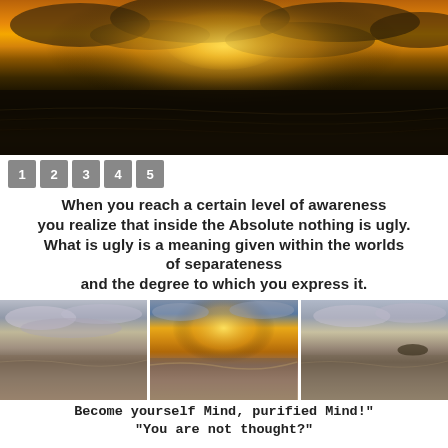[Figure (photo): Dramatic sunset over ocean with dark storm clouds and golden light rays breaking through, dark water in foreground]
1 2 3 4 5
When you reach a certain level of awareness you realize that inside the Absolute nothing is ugly. What is ugly is a meaning given within the worlds of separateness and the degree to which you express it.
[Figure (photo): Three beach/ocean sunset photos side by side showing reflective water and cloudy skies]
Become yourself Mind, purified Mind!" "You are not thought?"